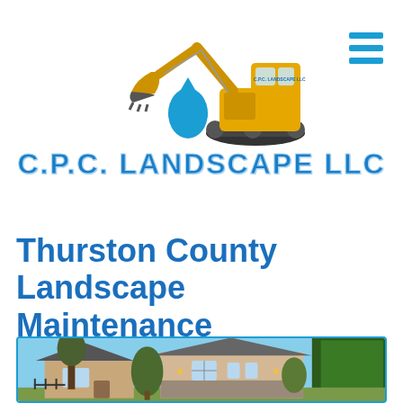[Figure (logo): C.P.C. Landscape LLC logo with yellow excavator and blue water drop, above stylized blue company name text]
Thurston County Landscape Maintenance
[Figure (photo): Photo of a residential house with landscaped yard, beige/tan siding, gray roof, decorative trees and shrubs, stone accents, taken on a sunny day]